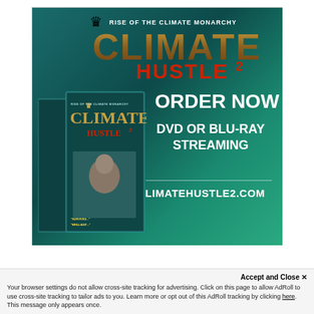[Figure (illustration): Advertisement for 'Climate Hustle 2: Rise of the Climate Monarchy' DVD/Blu-ray. Dark teal/green gradient background. Large stylized text reading 'CLIMATE' in gold/brown mosaic letters with a crown icon, and 'HUSTLE 2' in red below. Right side shows 'ORDER NOW', 'DVD OR BLU-RAY STREAMING', and 'CLIMATEHUSTLE2.COM'. Left side shows DVD/Blu-ray box art with a person's photo.]
Accept and Close ✕
Your browser settings do not allow cross-site tracking for advertising. Click on this page to allow AdRoll to use cross-site tracking to tailor ads to you. Learn more or opt out of this AdRoll tracking by clicking here. This message only appears once.